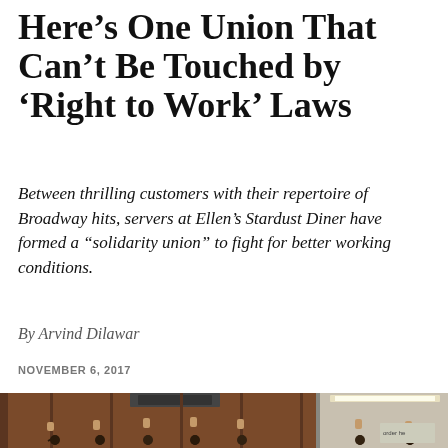Here's One Union That Can't Be Touched by 'Right to Work' Laws
Between thrilling customers with their repertoire of Broadway hits, servers at Ellen's Stardust Diner have formed a “solidarity union” to fight for better working conditions.
By Arvind Dilawar
NOVEMBER 6, 2017
[Figure (photo): A group of people (servers/workers) raising their fists in solidarity inside Ellen's Stardust Diner, showing brown paneled walls and fluorescent lights.]